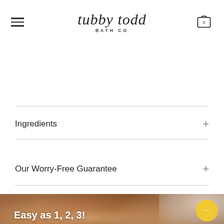[Figure (logo): Tubby Todd Bath Co logo with hamburger menu and cart icon]
Ingredients
Our Worry-Free Guarantee
[Figure (photo): Close-up photo of adult hands holding a newborn baby's feet, with a cream/lotion container visible in the background. Text overlay reads 'Easy as 1, 2, 3!']